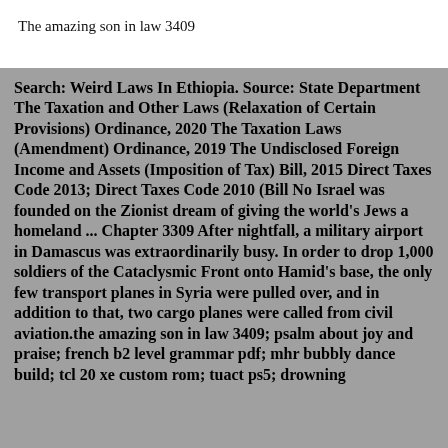The amazing son in law 3409
Search: Weird Laws In Ethiopia. Source: State Department The Taxation and Other Laws (Relaxation of Certain Provisions) Ordinance, 2020 The Taxation Laws (Amendment) Ordinance, 2019 The Undisclosed Foreign Income and Assets (Imposition of Tax) Bill, 2015 Direct Taxes Code 2013; Direct Taxes Code 2010 (Bill No Israel was founded on the Zionist dream of giving the world's Jews a homeland ... Chapter 3309 After nightfall, a military airport in Damascus was extraordinarily busy. In order to drop 1,000 soldiers of the Cataclysmic Front onto Hamid's base, the only few transport planes in Syria were pulled over, and in addition to that, two cargo planes were called from civil aviation.the amazing son in law 3409; psalm about joy and praise; french b2 level grammar pdf; mhr bubbly dance build; tcl 20 xe custom rom; tuact ps5; drowning